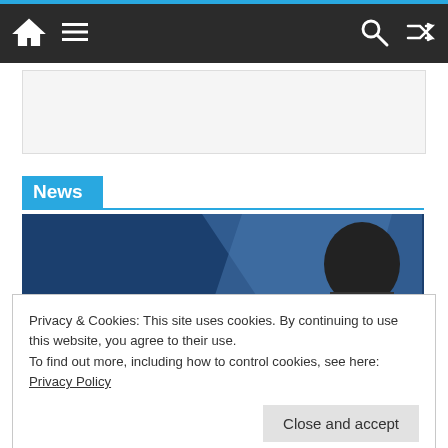Navigation bar with home icon, menu icon, search icon, shuffle icon
[Figure (photo): White/grey banner advertisement area]
News
[Figure (photo): Police officer in high-visibility jacket with 'Appeal' text overlay on dark blue background]
Privacy & Cookies: This site uses cookies. By continuing to use this website, you agree to their use.
To find out more, including how to control cookies, see here: Privacy Policy
Close and accept